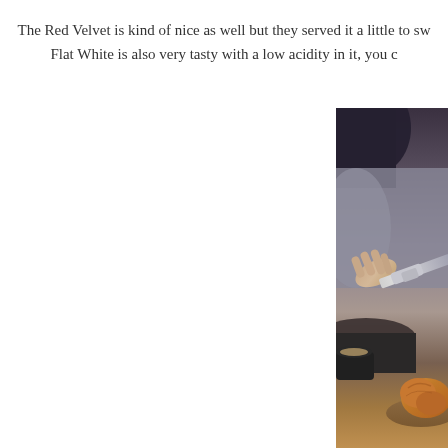The Red Velvet is kind of nice as well but they served it a little to sw Flat White is also very tasty with a low acidity in it, you c
[Figure (photo): A person holding a knife over a table with a black coffee cup and a croissant visible in the foreground, captured from above at a cafe setting.]